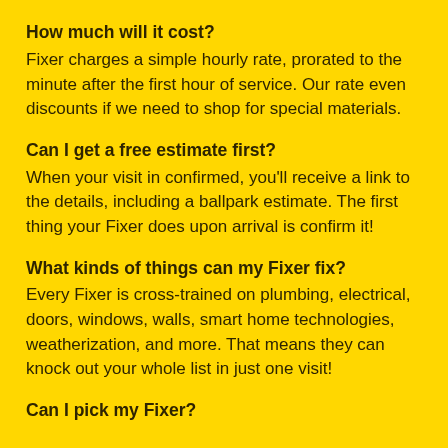How much will it cost?
Fixer charges a simple hourly rate, prorated to the minute after the first hour of service. Our rate even discounts if we need to shop for special materials.
Can I get a free estimate first?
When your visit in confirmed, you'll receive a link to the details, including a ballpark estimate. The first thing your Fixer does upon arrival is confirm it!
What kinds of things can my Fixer fix?
Every Fixer is cross-trained on plumbing, electrical, doors, windows, walls, smart home technologies, weatherization, and more. That means they can knock out your whole list in just one visit!
Can I pick my Fixer?